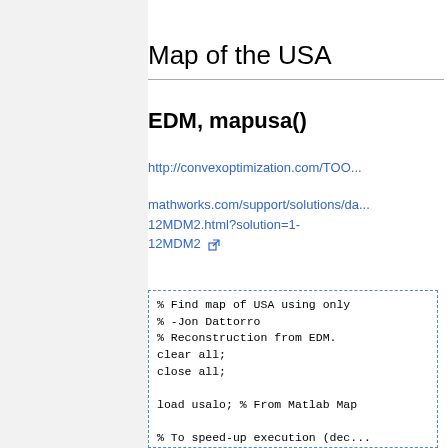Map of the USA
EDM, mapusa()
http://convexoptimization.com/TOO...
mathworks.com/support/solutions/da...12MDM2.html?solution=1-12MDM2
% Find map of USA using only
% -Jon Dattorro
% Reconstruction from EDM.
clear all;
close all;

load usalo; % From Matlab Map

% To speed-up execution (dec...
% 'factor' bigger positive in...
factor = 1;
Mg = 2*factor; % Relative de...
Ms = factor;